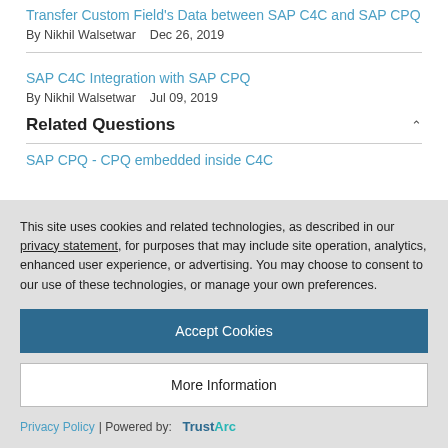Transfer Custom Field's Data between SAP C4C and SAP CPQ
By Nikhil Walsetwar   Dec 26, 2019
SAP C4C Integration with SAP CPQ
By Nikhil Walsetwar   Jul 09, 2019
Related Questions
SAP CPQ - CPQ embedded inside C4C
This site uses cookies and related technologies, as described in our privacy statement, for purposes that may include site operation, analytics, enhanced user experience, or advertising. You may choose to consent to our use of these technologies, or manage your own preferences.
Accept Cookies
More Information
Privacy Policy | Powered by: TrustArc